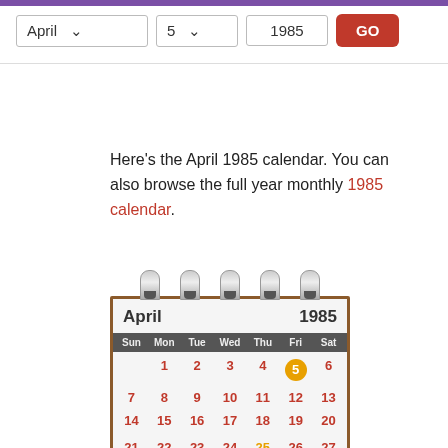[Figure (screenshot): Web app controls: month dropdown showing 'April', day dropdown showing '5', year input showing '1985', and a red GO button]
Here’s the April 1985 calendar. You can also browse the full year monthly 1985 calendar.
[Figure (illustration): April 1985 calendar widget with spiral rings at top, brown border. Header shows 'April' and '1985'. Day header row: Sun Mon Tue Wed Thu Fri Sat. Row 1: 1 2 3 4 5(highlighted orange) 6. Row 2: 7 8 9 10 11 12 13. Row 3: 14 15 16 17 18 19 20. Partial row 4 cut off at bottom.]